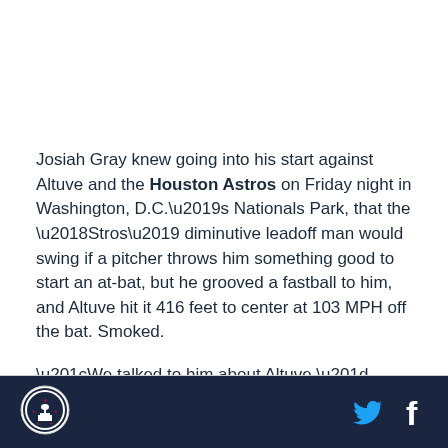Josiah Gray knew going into his start against Altuve and the Houston Astros on Friday night in Washington, D.C.'s Nationals Park, that the 'Stros' diminutive leadoff man would swing if a pitcher throws him something good to start an at-bat, but he grooved a fastball to him, and Altuve hit it 416 feet to center at 103 MPH off the bat. Smoked.
“We talked to him about Altuve,” manager Davey
[Figure (logo): Nationals/sports logo circular badge in footer]
[Figure (logo): Twitter and Facebook social media icons in footer]